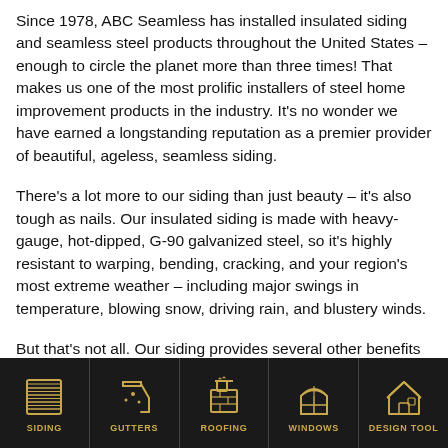Since 1978, ABC Seamless has installed insulated siding and seamless steel products throughout the United States – enough to circle the planet more than three times! That makes us one of the most prolific installers of steel home improvement products in the industry. It's no wonder we have earned a longstanding reputation as a premier provider of beautiful, ageless, seamless siding.
There's a lot more to our siding than just beauty – it's also tough as nails. Our insulated siding is made with heavy-gauge, hot-dipped, G-90 galvanized steel, so it's highly resistant to warping, bending, cracking, and your region's most extreme weather – including major swings in temperature, blowing snow, driving rain, and blustery winds.
But that's not all. Our siding provides several other benefits as
[Figure (infographic): Dark footer navigation bar with five icon-label pairs: SIDING (horizontal lines/siding icon), GUTTERS (gutter tool icon), ROOFING (chimney/roof icon), WINDOWS (window with arch icon), DESIGN TOOL (house icon). All icons and labels are rendered in gold/amber color on a dark background.]